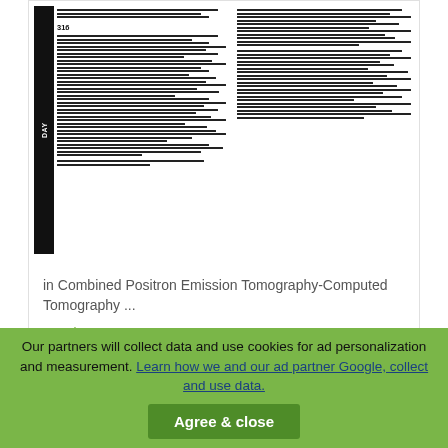[Figure (screenshot): Thumbnail of a journal article page with dense text columns and a black sidebar label, page number 316 visible]
in Combined Positron Emission Tomography-Computed Tomography ...
Read more
[Figure (screenshot): Thumbnail of a second journal article with orange sidebar and title: FLUORODEOXYGLUCOSE POSITRON EMISSION TOMOGRAPHY DETECTS THE INFLAMMATORY PHASE OF SCLEROSING PERITONITIS]
Our partners will collect data and use cookies for ad personalization and measurement. Learn how we and our ad partner Google, collect and use data. Agree & close